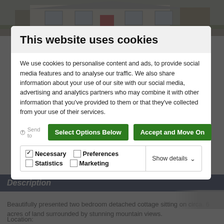[Figure (photo): Exterior photo of a two-bedroom detached cottage with red door, white walls, and autumn trees, partially visible behind the cookie consent modal]
This website uses cookies
We use cookies to personalise content and ads, to provide social media features and to analyse our traffic. We also share information about your use of our site with our social media, advertising and analytics partners who may combine it with other information that you've provided to them or that they've collected from your use of their services.
Select Options Below | Accept and Move On
Necessary | Preferences | Statistics | Marketing | Show details
Description
Beautifully presented two bedroom detached cottage sitting on circa. 6 acres of land surrounded by stunning mountain views.
Location: